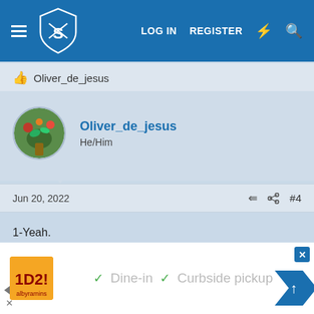[Figure (screenshot): Forum website header with logo (shield with crossed swords and letters YS), hamburger menu, LOG IN and REGISTER links, lightning bolt icon, and search icon on blue background]
👍 Oliver_de_jesus
[Figure (photo): Circular avatar photo of Oliver_de_jesus showing a colorful floral/nature scene]
Oliver_de_jesus
He/Him
Jun 20, 2022    #4
1-Yeah.
[Figure (screenshot): Advertisement bar with orange logo, green checkmarks, 'Dine-in' and 'Curbside pickup' text, close button, and navigation arrow]